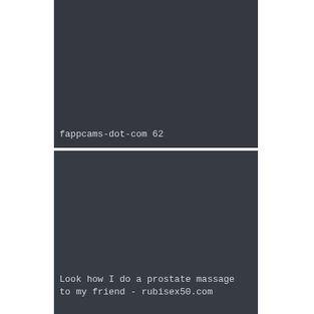[Figure (photo): Dark gray/charcoal colored rectangular image panel, top section]
fappcams-dot-com 62
[Figure (photo): Dark gray/charcoal colored rectangular image panel, bottom section]
Look how I do a prostate massage to my friend - rubisex50.com